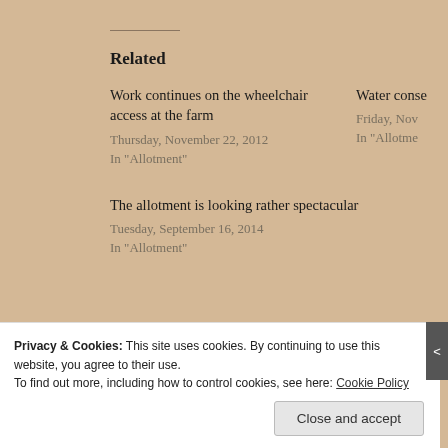Related
Work continues on the wheelchair access at the farm
Thursday, November 22, 2012
In "Allotment"
Water conse…
Friday, Nov…
In "Allotme…
The allotment is looking rather spectacular
Tuesday, September 16, 2014
In "Allotment"
Privacy & Cookies: This site uses cookies. By continuing to use this website, you agree to their use.
To find out more, including how to control cookies, see here: Cookie Policy
Close and accept